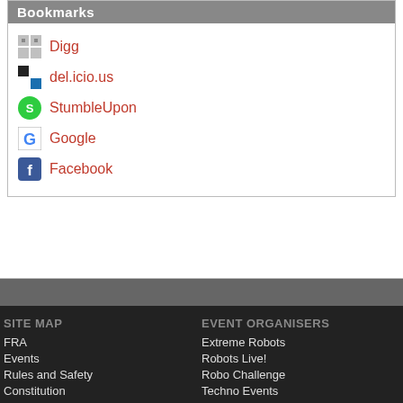Bookmarks
Digg
del.icio.us
StumbleUpon
Google
Facebook
SITE MAP
FRA
Events
Rules and Safety
Constitution
Meetings
Results
Membership
EVENT ORGANISERS
Extreme Robots
Robots Live!
Robo Challenge
Techno Events